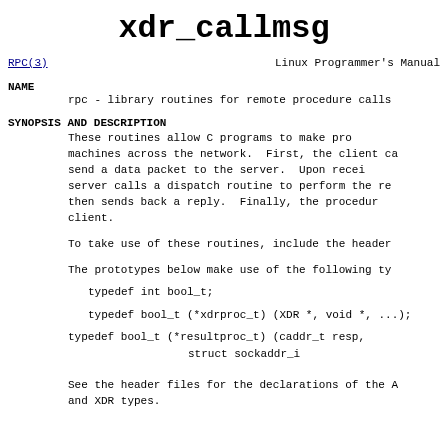xdr_callmsg
RPC(3)    Linux Programmer's Manual
NAME
rpc - library routines for remote procedure calls
SYNOPSIS AND DESCRIPTION
These routines allow C programs to make pro machines across the network. First, the client ca send a data packet to the server. Upon recei server calls a dispatch routine to perform the re then sends back a reply. Finally, the procedur client.
To take use of these routines, include the header
The prototypes below make use of the following ty
See the header files for the declarations of the A and XDR types.